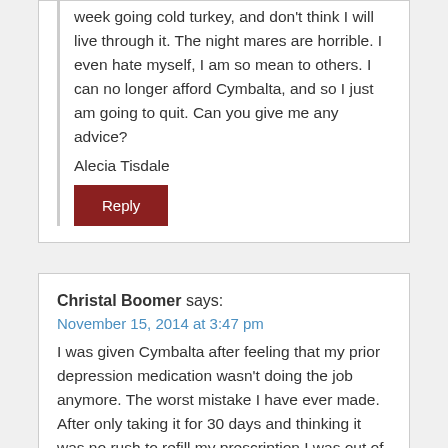week going cold turkey, and don't think I will live through it. The night mares are horrible. I even hate myself, I am so mean to others. I can no longer afford Cymbalta, and so I just am going to quit. Can you give me any advice?
Alecia Tisdale
Reply
Christal Boomer says:
November 15, 2014 at 3:47 pm
I was given Cymbalta after feeling that my prior depression medication wasn't doing the job anymore. The worst mistake I have ever made. After only taking it for 30 days and thinking it was no rush to refill my prescription I was out of